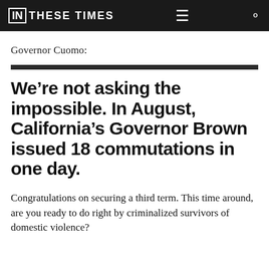IN THESE TIMES
Governor Cuomo:
We’re not asking the impossible. In August, California’s Governor Brown issued 18 commutations in one day.
Congratulations on securing a third term. This time around, are you ready to do right by criminalized survivors of domestic violence?